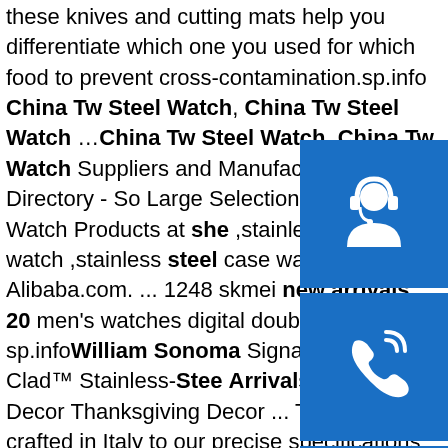these knives and cutting mats help you differentiate which one you used for which food to prevent cross-contamination.sp.info China Tw Steel Watch, China Tw Steel Watch …China Tw Steel Watch, China Tw Watch Suppliers and Manufacturers Directory - So Large Selection of Tw Steel Watch Products at she ,stainless steel watch ,stainless steel case watch f China Alibaba.com. ... 1248 skmei new arrivals 20 men's watches digital double time …sp.infoWilliam Sonoma Signature Thermo-Clad™ Stainless-Stee Arrivals Halloween Decor Thanksgiving Decor ... T Clad is crafted in Italy to our precise specifications an exclusive aluminum alloy that provides up to 35% better thermal conductivity than other aluminum-clad metal cookware on the market. ... After my experience using the 12" Williams-Sonoma Thermo-Clad Stainless-Steel Nonstick ...sp.info new arrival high adhesion aluminium ... - aluminum-alloy.comnew arrival high adhesion aluminium plate sealant silicone . If you have any
[Figure (illustration): Three blue square icons on the right sidebar: top is a customer service/headset icon, middle is a phone/call icon, bottom is a Skype logo icon]